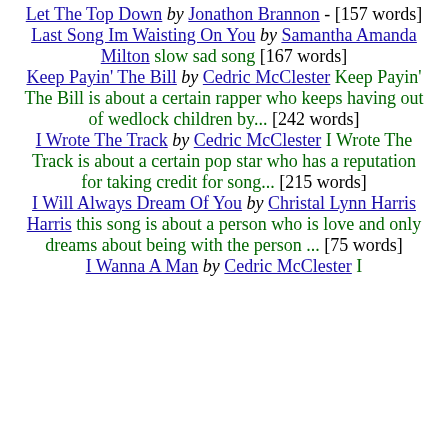Let The Top Down by Jonathon Brannon - [157 words]
Last Song Im Waisting On You by Samantha Amanda Milton slow sad song [167 words]
Keep Payin' The Bill by Cedric McClester Keep Payin' The Bill is about a certain rapper who keeps having out of wedlock children by... [242 words]
I Wrote The Track by Cedric McClester I Wrote The Track is about a certain pop star who has a reputation for taking credit for song... [215 words]
I Will Always Dream Of You by Christal Lynn Harris Harris this song is about a person who is love and only dreams about being with the person ... [75 words]
I Wanna A Man by Cedric McClester I